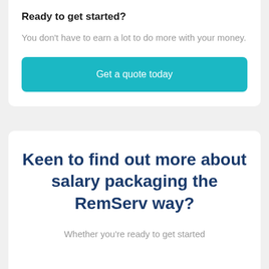Ready to get started?
You don't have to earn a lot to do more with your money.
Get a quote today
Keen to find out more about salary packaging the RemServ way?
Whether you're ready to get started